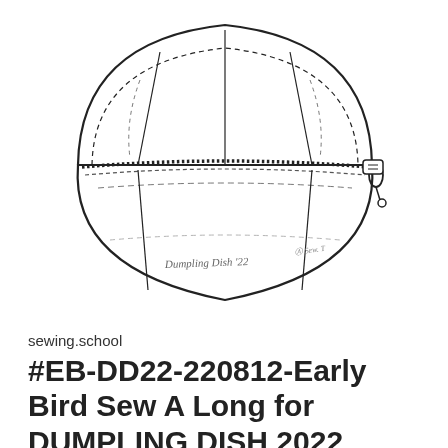[Figure (illustration): Technical line drawing of a Dumpling Dish pouch/bag with zipper. The pouch has a dome-shaped top portion and a bowl-shaped bottom. The top portion shows dashed seam lines and structural lines radiating from the center. The bottom portion shows a zipper along the curved top edge with a zipper pull on the right side. Dashed topstitch lines run parallel to the seam. Handwritten text reads 'Dumpling Dish '22' inside the pouch, and a small logo/signature appears on the right side.]
sewing.school
#EB-DD22-220812-Early Bird Sew A Long for DUMPLING DISH 2022